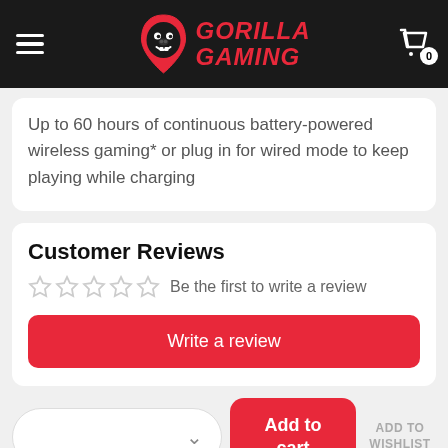Gorilla Gaming
Up to 60 hours of continuous battery-powered wireless gaming* or plug in for wired mode to keep playing while charging
Customer Reviews
Be the first to write a review
Write a review
Add to cart
ADD TO WISHLIST